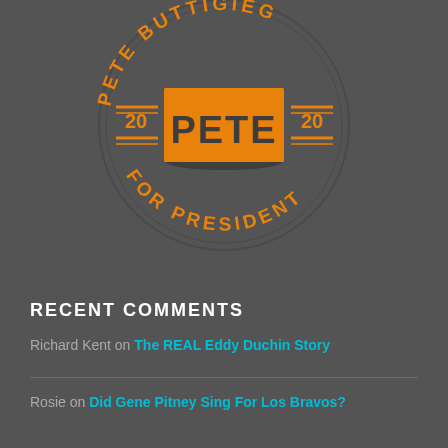[Figure (logo): Pete Buttigieg For President 2020 campaign logo. Circular logo with orange text 'PETE BUTTIGIEG' arced along the top and 'FOR PRESIDENT' arced along the bottom. Center features a bold orange rectangle with 'PETE' in large dark letters. Flanking the center rectangle are '20' and '20' with horizontal lines above and below, forming '2020'.]
RECENT COMMENTS
Richard Kent on The REAL Eddy Duchin Story
Rosie on Did Gene Pitney Sing For Los Bravos?